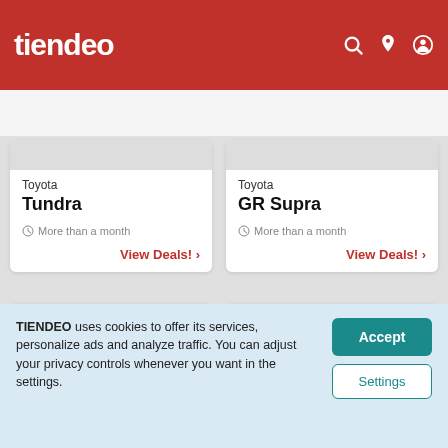tiendeo
Sports
Restaurants
Automotive
Crafts
Luxury brands
Toyota
Tundra
More than a month
View Deals!
Toyota
GR Supra
More than a month
View Deals!
[Figure (photo): Toyota Mirai car advertisement card with Toyota logo and Mirai badge]
[Figure (logo): Toyota logo on white card background]
TIENDEO uses cookies to offer its services, personalize ads and analyze traffic. You can adjust your privacy controls whenever you want in the settings.